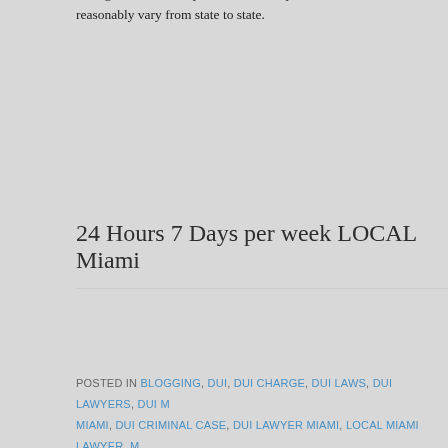throughout the country. The minimum penalties and likelihood of conviction reasonably vary from state to state.
24 Hours 7 Days per week LOCAL Miami
POSTED IN BLOGGING, DUI, DUI CHARGE, DUI LAWS, DUI LAWYERS, DUI MIAMI, DUI CRIMINAL CASE, DUI LAWYER MIAMI, LOCAL MIAMI LAWYER, MIAMI DUI LAWYERS, MIAMI LAWYER
← Los Angeles DUI Lawyer
Find Us   About Th